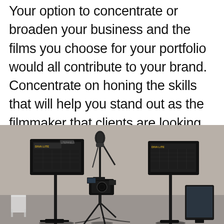Your option to concentrate or broaden your business and the films you choose for your portfolio would all contribute to your brand. Concentrate on honing the skills that will help you stand out as the filmmaker that clients are looking for.
[Figure (photo): A film production setup showing two large professional LED panel lights on stands (DIVA LITE style), a camera on a tripod in the center foreground, a boom microphone arm, and a tablet/monitor on the right side. The background is a light grey wall. The scene is a professional video studio or event filming setup.]